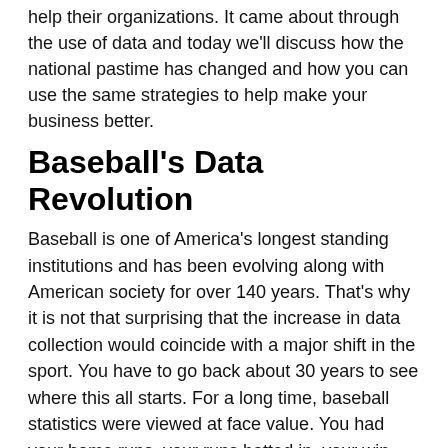help their organizations. It came about through the use of data and today we'll discuss how the national pastime has changed and how you can use the same strategies to help make your business better.
Baseball's Data Revolution
Baseball is one of America's longest standing institutions and has been evolving along with American society for over 140 years. That's why it is not that surprising that the increase in data collection would coincide with a major shift in the sport. You have to go back about 30 years to see where this all starts. For a long time, baseball statistics were viewed at face value. You had your home runs, your runs batted in, your win-loss record. Along came some baseball fans that were also looking to measure players differently. Known as SABRmetrics (named after the Society of Baseball Research), new statistics were created that helped fans, and more importantly, a set of innovative front office executives measure every part of the game. This is from a time the stats helped change how every team...